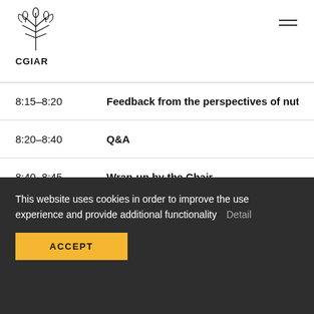CGIAR
| Time | Description |
| --- | --- |
| 8:15–8:20 | Feedback from the perspectives of nutrition and f… |
| 8:20–8:40 | Q&A |
| 8:40–8:45 | Wrap-up by the Chair |
This website uses cookies in order to improve the use experience and provide additional functionality Detail
ACCEPT